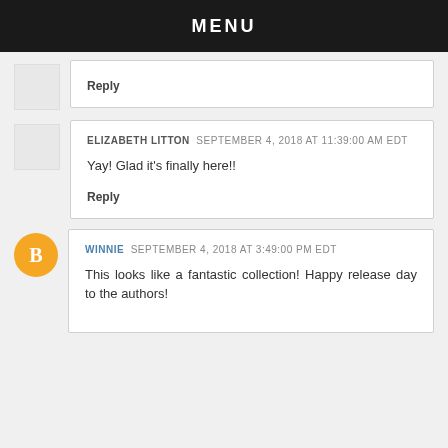MENU
Reply
ELIZABETH LITTON  SEPTEMBER 4, 2018 AT 11:39:00 AM EDT

Yay! Glad it's finally here!!

Reply
WINNIE  SEPTEMBER 4, 2018 AT 3:49:00 PM EDT

This looks like a fantastic collection! Happy release day to the authors!